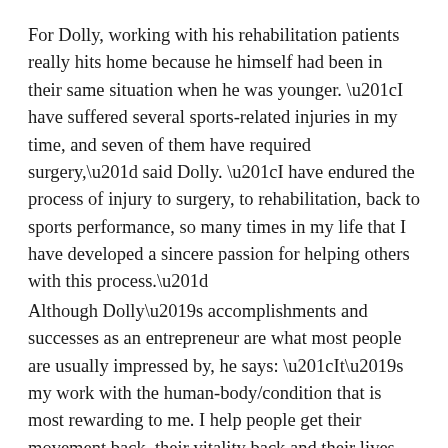For Dolly, working with his rehabilitation patients really hits home because he himself had been in their same situation when he was younger. “I have suffered several sports-related injuries in my time, and seven of them have required surgery,” said Dolly. “I have endured the process of injury to surgery, to rehabilitation, back to sports performance, so many times in my life that I have developed a sincere passion for helping others with this process.”
Although Dolly’s accomplishments and successes as an entrepreneur are what most people are usually impressed by, he says: “It’s my work with the human-body/condition that is most rewarding to me. I help people get their movement back, their vitality back and their lives back. For some, I help them achieve a level of life they have never had. The continual impact I get to have on people’s lives is the most rewarding part of my career.”
Dolly credits his understanding of the human body...